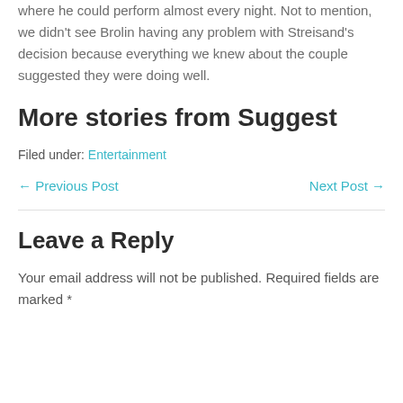where he could perform almost every night. Not to mention, we didn't see Brolin having any problem with Streisand's decision because everything we knew about the couple suggested they were doing well.
More stories from Suggest
Filed under: Entertainment
← Previous Post    Next Post →
Leave a Reply
Your email address will not be published. Required fields are marked *